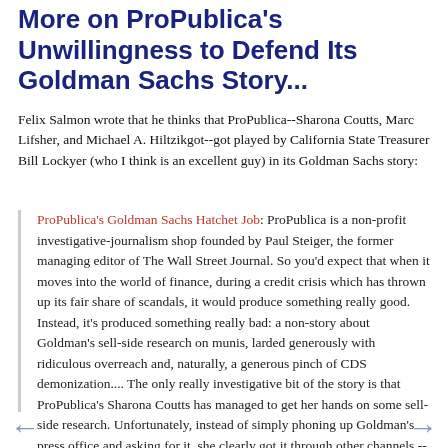More on ProPublica's Unwillingness to Defend Its Goldman Sachs Story...
Felix Salmon wrote that he thinks that ProPublica--Sharona Coutts, Marc Lifsher, and Michael A. Hiltzikgot--got played by California State Treasurer Bill Lockyer (who I think is an excellent guy) in its Goldman Sachs story:
ProPublica's Goldman Sachs Hatchet Job: ProPublica is a non-profit investigative-journalism shop founded by Paul Steiger, the former managing editor of The Wall Street Journal. So you'd expect that when it moves into the world of finance, during a credit crisis which has thrown up its fair share of scandals, it would produce something really good. Instead, it's produced something really bad: a non-story about Goldman's sell-side research on munis, larded generously with ridiculous overreach and, naturally, a generous pinch of CDS demonization.... The only really investigative bit of the story is that ProPublica's Sharona Coutts has managed to get her hands on some sell-side research. Unfortunately, instead of simply phoning up Goldman's press office and asking for it, she clearly got it through other channels -- and as a result, her copy of the research has a "Proprietary and Confidential" stamp on it. Which is obviously all she and Steiger needed to conclude that there was scandal afoot...